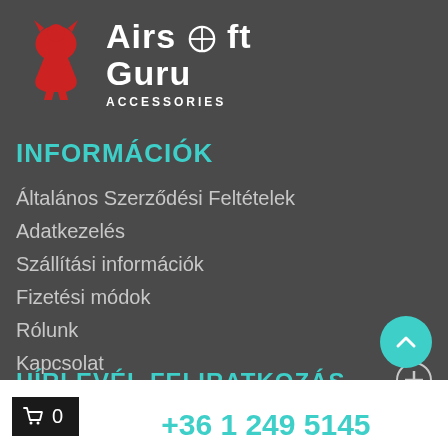[Figure (logo): Airsoft Guru Accessories logo — red stylized figure icon on left, white bold text 'AIRSOFT GURU' with crosshair O, subtitle 'ACCESSORIES']
INFORMÁCIÓK
Általános Szerződési Feltételek
Adatkezelés
Szállítási információk
Fizetési módok
Rólunk
Kapcsolat
HÍRLEVÉL FELIRATKOZÁS
+36 1 249 5145